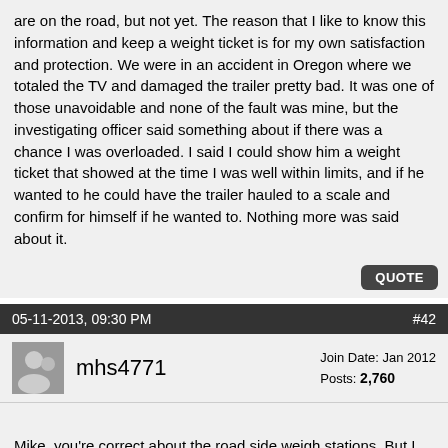are on the road, but not yet. The reason that I like to know this information and keep a weight ticket is for my own satisfaction and protection. We were in an accident in Oregon where we totaled the TV and damaged the trailer pretty bad. It was one of those unavoidable and none of the fault was mine, but the investigating officer said something about if there was a chance I was overloaded. I said I could show him a weight ticket that showed at the time I was well within limits, and if he wanted to he could have the trailer hauled to a scale and confirm for himself if he wanted to. Nothing more was said about it.
QUOTE
05-11-2013, 09:30 PM   #42
mhs4771   Join Date: Jan 2012  Posts: 2,760
Mike, you're correct about the road side weigh stations. But I have read (no first hand experience) that if a Trooper thinks you look over weight, he can pull you over and call in a portable scale to weigh your TV and RV, at that point you would need your back-up receipts of